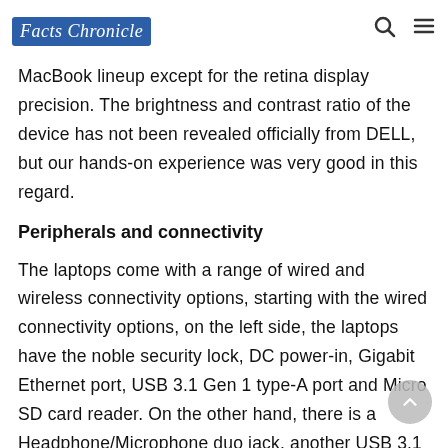Facts Chronicle
MacBook lineup except for the retina display precision. The brightness and contrast ratio of the device has not been revealed officially from DELL, but our hands-on experience was very good in this regard.
Peripherals and connectivity
The laptops come with a range of wired and wireless connectivity options, starting with the wired connectivity options, on the left side, the laptops have the noble security lock, DC power-in, Gigabit Ethernet port, USB 3.1 Gen 1 type-A port and Micro SD card reader. On the other hand, there is a Headphone/Microphone duo jack, another USB 3.1 port, Thunderbolt port and an HDMI 2.0 port. The